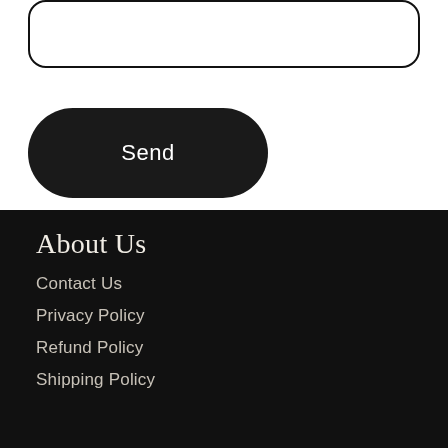[Figure (other): A rounded rectangle text input box with thick black border]
Send
About Us
Contact Us
Privacy Policy
Refund Policy
Shipping Policy